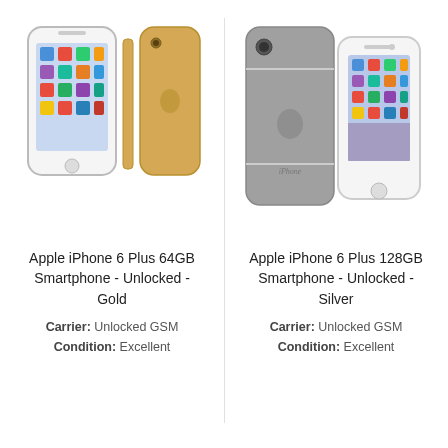[Figure (photo): Apple iPhone 6 Plus in Gold color, showing front and back views of the smartphone]
[Figure (photo): Apple iPhone 6 Plus in Silver color, showing front and back views of the smartphone]
Apple iPhone 6 Plus 64GB Smartphone - Unlocked - Gold
Apple iPhone 6 Plus 128GB Smartphone - Unlocked - Silver
Carrier: Unlocked GSM
Condition: Excellent
Carrier: Unlocked GSM
Condition: Excellent